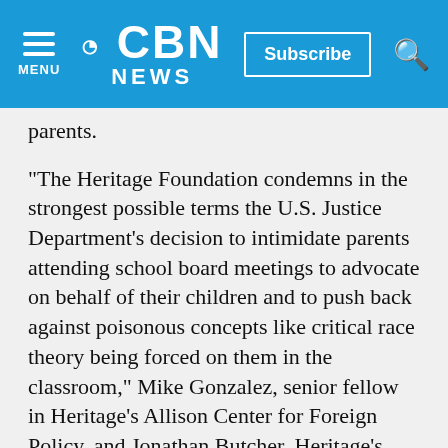CBN NEWS | Subscribe | MENU | Search
parents.
"The Heritage Foundation condemns in the strongest possible terms the U.S. Justice Department's decision to intimidate parents attending school board meetings to advocate on behalf of their children and to push back against poisonous concepts like critical race theory being forced on them in the classroom," Mike Gonzalez, senior fellow in Heritage's Allison Center for Foreign Policy, and Jonathan Butcher, Heritage's Will Skillman fellow in education, said in a joint statement.
"A school board's responsibility is to represent